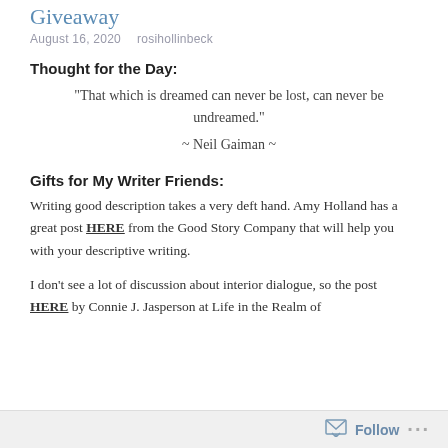Giveaway
August 16, 2020   rosihollinbeck
Thought for the Day:
“That which is dreamed can never be lost, can never be undreamed.”
~ Neil Gaiman ~
Gifts for My Writer Friends:
Writing good description takes a very deft hand. Amy Holland has a great post HERE from the Good Story Company that will help you with your descriptive writing.
I don’t see a lot of discussion about interior dialogue, so the post HERE by Connie J. Jasperson at Life in the Realm of
Follow